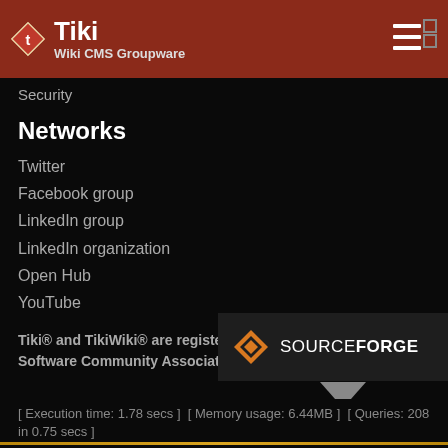Tiki Wiki CMS Groupware
Security
Networks
Twitter
Facebook group
LinkedIn group
LinkedIn organization
Open Hub
YouTube
Tiki® and TikiWiki® are registered trademarks of the Tiki Software Community Association.
[Figure (logo): SourceForge logo badge with orange diamond icon and SOURCEFORGE text]
[ Execution time: 1.78 secs ]  [ Memory usage: 6.44MB ]  [ Queries: 208 in 0.75 secs ]